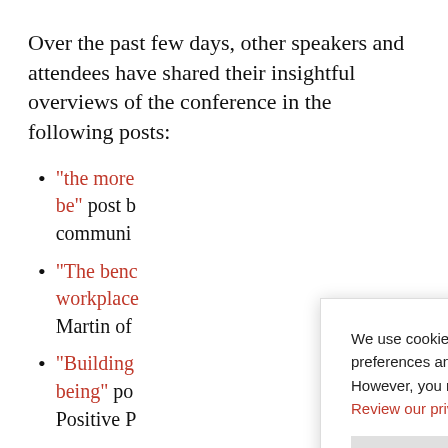Over the past few days, other speakers and attendees have shared their insightful overviews of the conference in the following posts:
“the more… be” post b… communi…
“The beno… workplace… Martin of…
“Building… being” po… Positive P…
We use cookies on our website to give you the most relevant experience by remembering your preferences and repeat visits. By clicking “Accept”, you consent to the use of ALL the cookies. However, you may visit “Cookie Settings” to provide a controlled consent. Review our privacy policy here.